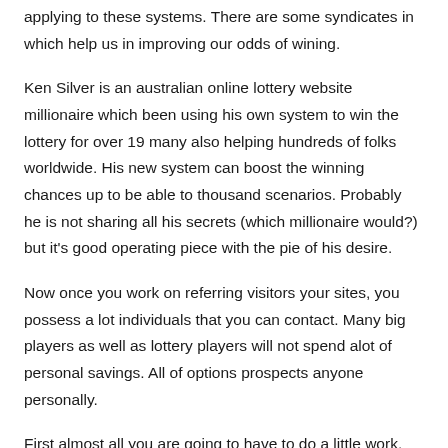applying to these systems. There are some syndicates in which help us in improving our odds of wining.
Ken Silver is an australian online lottery website millionaire which been using his own system to win the lottery for over 19 many also helping hundreds of folks worldwide. His new system can boost the winning chances up to be able to thousand scenarios. Probably he is not sharing all his secrets (which millionaire would?) but it's good operating piece with the pie of his desire.
Now once you work on referring visitors your sites, you possess a lot individuals that you can contact. Many big players as well as lottery players will not spend alot of personal savings. All of options prospects anyone personally.
First almost all you are going to have to do a little work. Most people will explain to you that winning the lottery is entirely random and that you cannot pick what the winning numbers will be and it is all just plain dumb joy. Without getting too complicated, all you